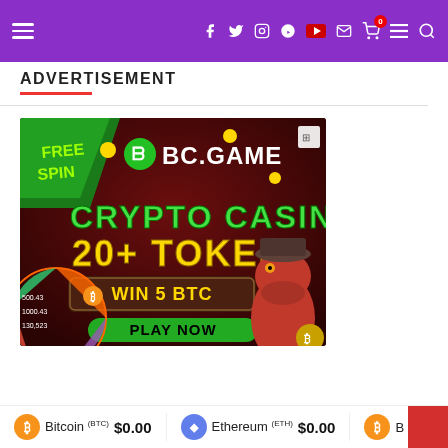Navigation header with hamburger menu, social icons (Facebook, Twitter, Instagram, Pinterest, YouTube, Mail), cart with badge 0, menu, search
ADVERTISEMENT
[Figure (illustration): BC.GAME crypto casino advertisement banner. Dark red background with 'FREE SPIN' green badge top left, BC.GAME logo with green spinning wheel icon, 'CRYPTO CASINO' in large green text, '20+ TOKEN' in yellow text, 'WIN 5 BTC' button in brown/gold, 'PLAY NOW' green button, cartoon alligator character with cowboy hat and money bag on right, colorful spinning wheel on left with Bitcoin coins and values like 500.43, 1000.43, 130,523]
Bitcoin (BTC) $0.00   Ethereum (ETH) $0.00   B...